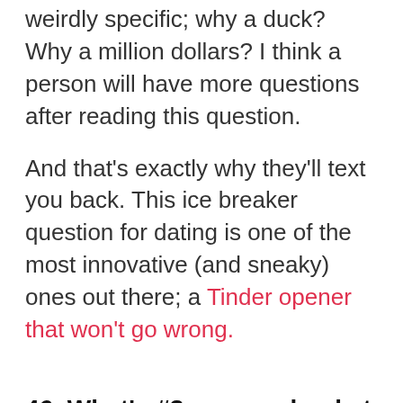weirdly specific; why a duck? Why a million dollars? I think a person will have more questions after reading this question.
And that's exactly why they'll text you back. This ice breaker question for dating is one of the most innovative (and sneaky) ones out there; a Tinder opener that won't go wrong.
46. What's #3 on your bucket list?
If you ever want to show interest, focus on the details. Instead of asking about her bucket list in general, ask about what's third. It makes a